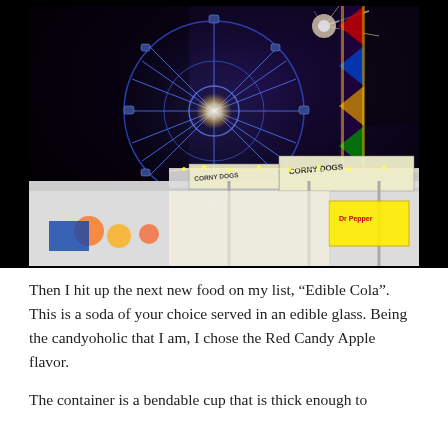[Figure (photo): Night-time photograph of a carnival or state fair showing a large illuminated Ferris wheel with blue and white lights against a dark sky, with a food vendor stand in the foreground displaying 'CORNY DOGS' signage.]
Then I hit up the next new food on my list, “Edible Cola”. This is a soda of your choice served in an edible glass. Being the candyoholic that I am, I chose the Red Candy Apple flavor.
The container is a bendable cup that is thick enough to